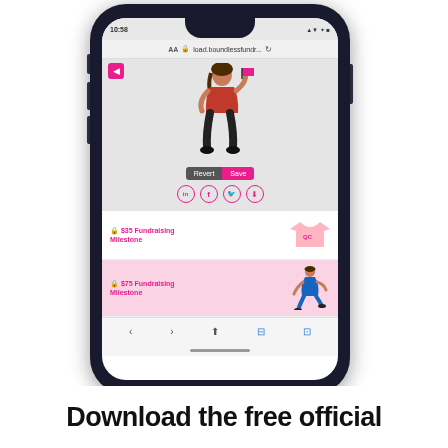[Figure (screenshot): iPhone screenshot showing a mobile web app at load.boundlessfundre... URL. The screen displays an avatar of a person wearing a red shirt holding a flag, with Revert and Save buttons, social media icons (LinkedIn, Facebook, Twitter, Download), and two fundraising milestone rows: '$35 Fundraising Milestone' showing a pink t-shirt, and '$75 Fundraising Milestone' showing a blue running figure on a pink background.]
Download the free official